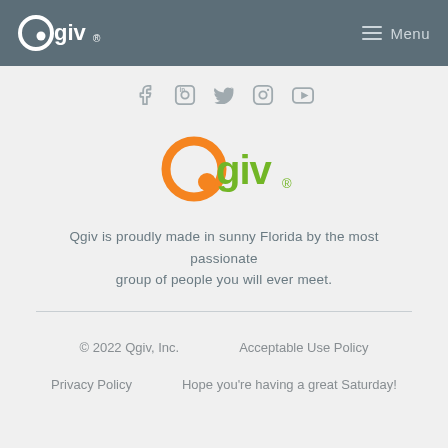[Figure (logo): Qgiv logo in white on dark header background, with hamburger menu and Menu text]
[Figure (illustration): Social media icons: Facebook, LinkedIn, Twitter, Instagram, YouTube in gray]
[Figure (logo): Qgiv colored logo - orange Q circle and green giv text]
Qgiv is proudly made in sunny Florida by the most passionate group of people you will ever meet.
© 2022 Qgiv, Inc.    Acceptable Use Policy
Privacy Policy    Hope you're having a great Saturday!